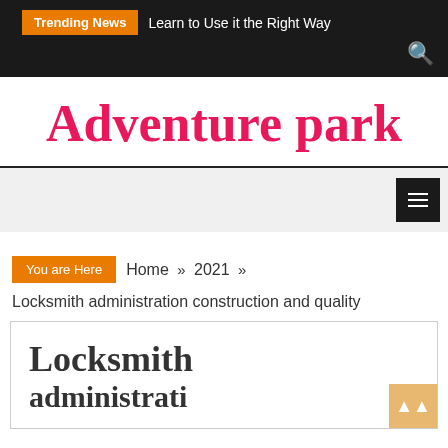Trending News  Learn to Use it the Right Way
Adventure park
Navigation menu
You are Here  Home »  2021 »
Locksmith administration construction and quality
Locksmith administration